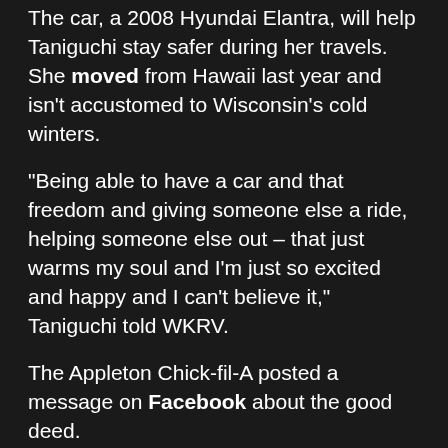The car, a 2008 Hyundai Elantra, will help Taniguchi stay safer during her travels. She moved from Hawaii last year and isn't accustomed to Wisconsin's cold winters.
“Being able to have a car and that freedom and giving someone else a ride, helping someone else out – that just warms my soul and I’m just so excited and happy and I can’t believe it,” Taniguchi told WKRV.
The Appleton Chick-fil-A posted a message on Facebook about the good deed.
Bridges said of her friend, “She’s one of the people here that has made me be myself more, and I just feel so happy being around her and it was just an immediate decision to give her a car because she probably needs it more than anyone I know.”
Sami Hansen, director of hospitality and quality at